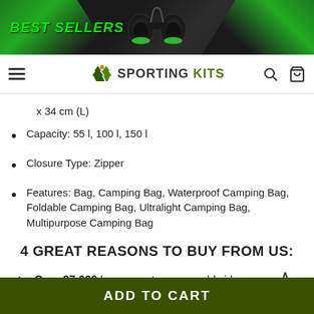[Figure (screenshot): Website banner with BEST SELLERS text in green on dark background with binoculars image]
SPORTING KITS — navigation bar with hamburger menu, logo, search and cart icons
x 34 cm (L)
Capacity: 55 l, 100 l, 150 l
Closure Type: Zipper
Features: Bag, Camping Bag, Waterproof Camping Bag, Foldable Camping Bag, Ultralight Camping Bag, Multipurpose Camping Bag
4 GREAT REASONS TO BUY FROM US:
Over 37,000 happy customers worldwide
ADD TO CART